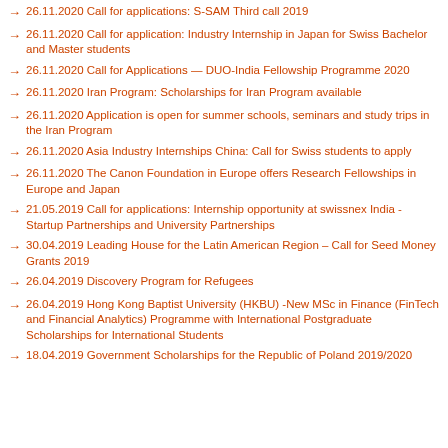26.11.2020 Call for applications: S-SAM Third call 2019
26.11.2020 Call for application: Industry Internship in Japan for Swiss Bachelor and Master students
26.11.2020 Call for Applications — DUO-India Fellowship Programme 2020
26.11.2020 Iran Program: Scholarships for Iran Program available
26.11.2020 Application is open for summer schools, seminars and study trips in the Iran Program
26.11.2020 Asia Industry Internships China: Call for Swiss students to apply
26.11.2020 The Canon Foundation in Europe offers Research Fellowships in Europe and Japan
21.05.2019 Call for applications: Internship opportunity at swissnex India - Startup Partnerships and University Partnerships
30.04.2019 Leading House for the Latin American Region – Call for Seed Money Grants 2019
26.04.2019 Discovery Program for Refugees
26.04.2019 Hong Kong Baptist University (HKBU) -New MSc in Finance (FinTech and Financial Analytics) Programme with International Postgraduate Scholarships for International Students
18.04.2019 Government Scholarships for the Republic of Poland 2019/2020